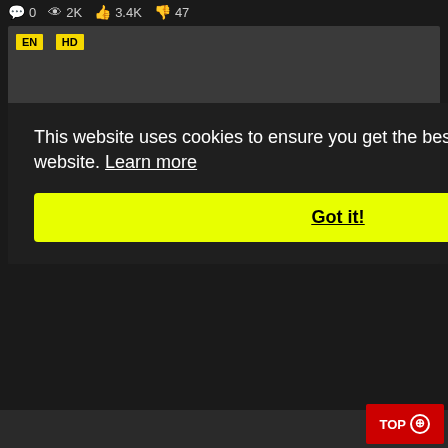0  2K  3.4K  47
[Figure (screenshot): Dark video player area with EN and HD yellow badges in top-left corner]
This website uses cookies to ensure you get the best experience on our website. Learn more
Got it!